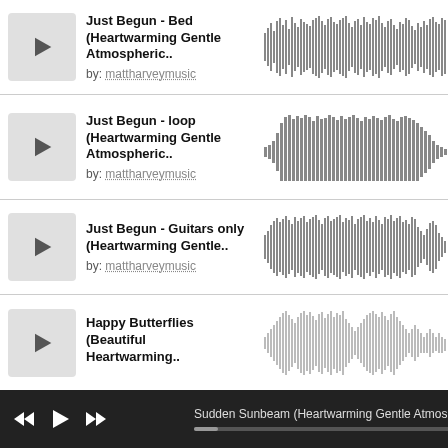Just Begun - Bed (Heartwarming Gentle Atmospheric.. by: mattharveymusic
[Figure (other): Audio waveform visualization for Just Begun - Bed]
Just Begun - loop (Heartwarming Gentle Atmospheric.. by: mattharveymusic
[Figure (other): Audio waveform visualization for Just Begun - loop]
Just Begun - Guitars only (Heartwarming Gentle.. by: mattharveymusic
[Figure (other): Audio waveform visualization for Just Begun - Guitars only]
Happy Butterflies (Beautiful Heartwarming..
[Figure (other): Audio waveform visualization for Happy Butterflies - lighter/greyed out]
Sudden Sunbeam (Heartwarming Gentle Atmospheric...